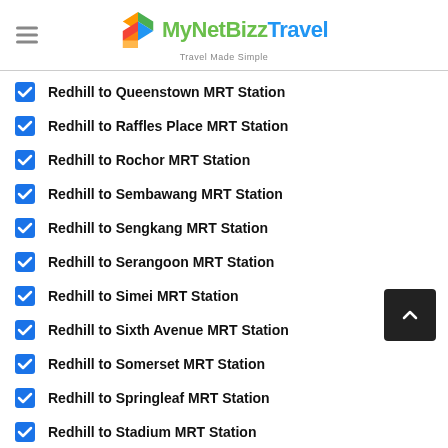MyNetBizzTravel — Travel Made Simple
Redhill to Queenstown MRT Station
Redhill to Raffles Place MRT Station
Redhill to Rochor MRT Station
Redhill to Sembawang MRT Station
Redhill to Sengkang MRT Station
Redhill to Serangoon MRT Station
Redhill to Simei MRT Station
Redhill to Sixth Avenue MRT Station
Redhill to Somerset MRT Station
Redhill to Springleaf MRT Station
Redhill to Stadium MRT Station